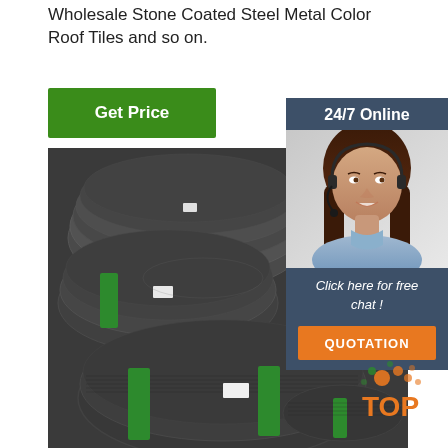Wholesale Stone Coated Steel Metal Color Roof Tiles and so on.
Get Price
[Figure (photo): Large coils of dark steel wire bundled with green straps, stacked in a warehouse]
[Figure (infographic): Sidebar panel with '24/7 Online' header, customer service representative photo with headset, 'Click here for free chat!' text, and orange QUOTATION button]
[Figure (logo): TOP logo with orange and green dots in bottom right corner]